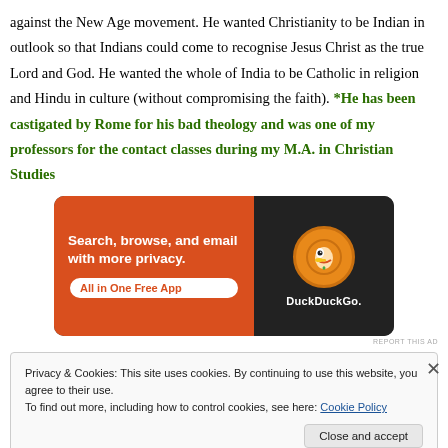against the New Age movement. He wanted Christianity to be Indian in outlook so that Indians could come to recognise Jesus Christ as the true Lord and God. He wanted the whole of India to be Catholic in religion and Hindu in culture (without compromising the faith). *He has been castigated by Rome for his bad theology and was one of my professors for the contact classes during my M.A. in Christian Studies
[Figure (other): DuckDuckGo advertisement banner: orange background on left with text 'Search, browse, and email with more privacy. All in One Free App' and a phone with DuckDuckGo logo on dark right side.]
Privacy & Cookies: This site uses cookies. By continuing to use this website, you agree to their use. To find out more, including how to control cookies, see here: Cookie Policy
Close and accept